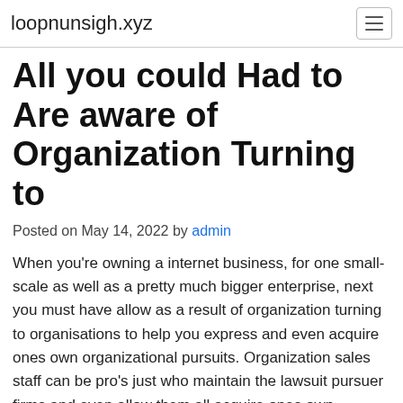loopnunsigh.xyz
All you could Had to Are aware of Organization Turning to
Posted on May 14, 2022 by admin
When you're owning a internet business, for one small-scale as well as a pretty much bigger enterprise, next you must have allow as a result of organization turning to organisations to help you express and even acquire ones own organizational pursuits. Organization sales staff can be pro's just who maintain the lawsuit pursuer firms and even allow them all acquire ones own pursuits as a result of more desirable by using organizational information. Some